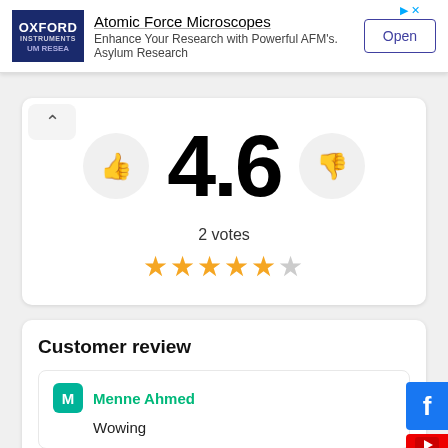[Figure (screenshot): Advertisement banner for Oxford Instruments Atomic Force Microscopes with Open button]
4.6
2 votes
[Figure (other): Star rating showing 4.6 out of 5 stars]
Customer review
Menne Ahmed
Wowing